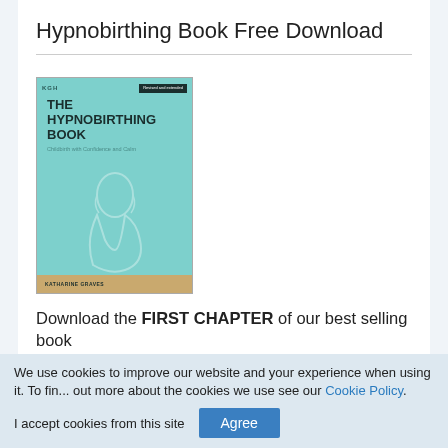Hypnobirthing Book Free Download
[Figure (illustration): Book cover of 'The Hypnobirthing Book: Childbirth with Confidence and Calm' by Katharine Graves. Teal/turquoise cover with white outline drawing of a pregnant woman, published with a revised and extended badge.]
Download the FIRST CHAPTER of our best selling book
We use cookies to improve our website and your experience when using it. To find out more about the cookies we use see our Cookie Policy.
I accept cookies from this site Agree